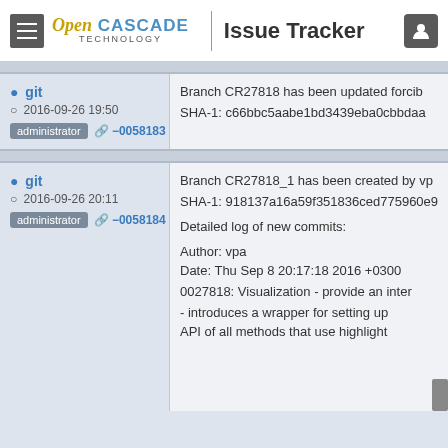Open CASCADE TECHNOLOGY | Issue Tracker
git
2016-09-26 19:50
administrator −0058183
Branch CR27818 has been updated forcib
SHA-1: c66bbc5aabe1bd3439eba0cbbdaa
git
2016-09-26 20:11
administrator −0058184
Branch CR27818_1 has been created by vp
SHA-1: 918137a16a59f351836ced775960e9
Detailed log of new commits:
Author: vpa
Date: Thu Sep 8 20:17:18 2016 +0300
0027818: Visualization - provide an inter
- introduces a wrapper for setting up
API of all methods that use highlight